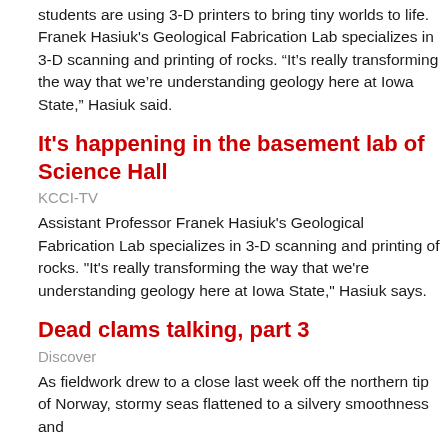students are using 3-D printers to bring tiny worlds to life. Franek Hasiuk's Geological Fabrication Lab specializes in 3-D scanning and printing of rocks. “It’s really transforming the way that we’re understanding geology here at Iowa State,” Hasiuk said.
It's happening in the basement lab of Science Hall
KCCI-TV
Assistant Professor Franek Hasiuk's Geological Fabrication Lab specializes in 3-D scanning and printing of rocks. "It's really transforming the way that we're understanding geology here at Iowa State," Hasiuk says.
Dead clams talking, part 3
Discover
As fieldwork drew to a close last week off the northern tip of Norway, stormy seas flattened to a silvery smoothness and